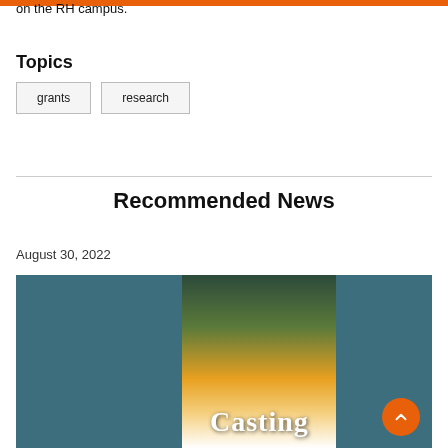on the RH campus.
Topics
grants
research
Recommended News
August 30, 2022
[Figure (photo): Book cover image showing text 'Casting' with a scenic road and trees in the background with sunlight, displayed against a teal background panel]